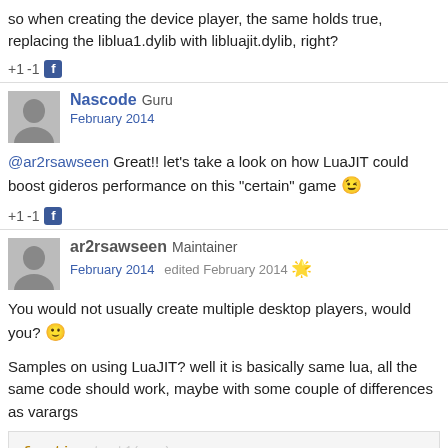so when creating the device player, the same holds true, replacing the liblua1.dylib with libluajit.dylib, right?
+1 -1 [facebook icon]
Nascode Guru
February 2014
@ar2rsawseen Great!! let's take a look on how LuaJIT could boost gideros performance on this "certain" game 😉
+1 -1 [facebook icon]
ar2rsawseen Maintainer
February 2014   edited February 2014 🌟
You would not usually create multiple desktop players, would you? 🙂
Samples on using LuaJIT? well it is basically same lua, all the same code should work, maybe with some couple of differences as varargs